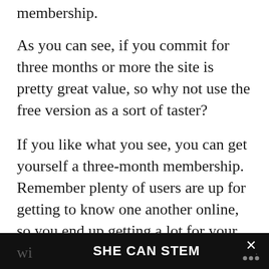membership.
As you can see, if you commit for three months or more the site is pretty great value, so why not use the free version as a sort of taster?
If you like what you see, you can get yourself a three-month membership. Remember plenty of users are up for getting to know one another online, so you end up getting a lot for your money with Adult Friend Finder, using your membership wi
SHE CAN STEM